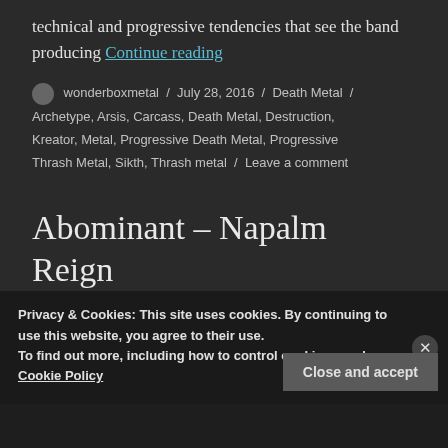technical and progressive tendencies that see the band producing Continue reading
wonderboxmetal / July 28, 2016 / Death Metal / Archetype, Arsis, Carcass, Death Metal, Destruction, Kreator, Metal, Progressive Death Metal, Progressive Thrash Metal, Sikth, Thrash metal / Leave a comment
Abominant – Napalm Reign (Review)
Privacy & Cookies: This site uses cookies. By continuing to use this website, you agree to their use.
To find out more, including how to control cookies, see here: Cookie Policy
Close and accept